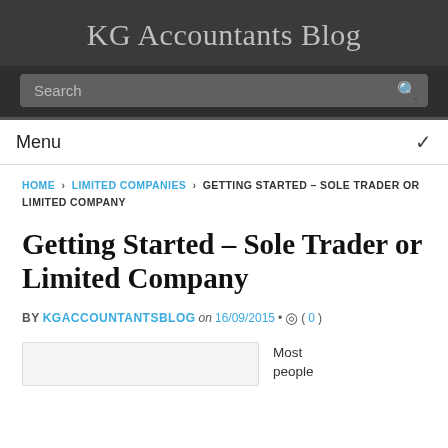KG Accountants Blog
Search
Menu
HOME › LIMITED COMPANIES › GETTING STARTED – SOLE TRADER OR LIMITED COMPANY
Getting Started – Sole Trader or Limited Company
BY KGACCOUNTANTSBLOG on 16/09/2015 • ( 0 )
Most people